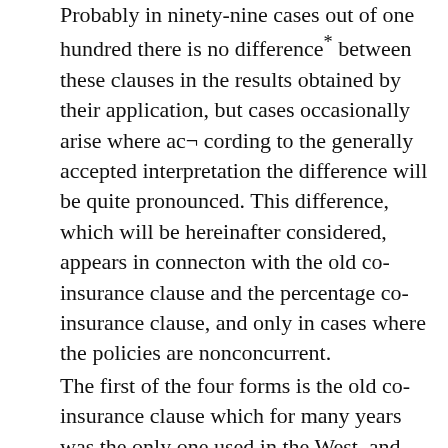Probably in ninety-nine cases out of one hundred there is no difference* between these clauses in the results obtained by their application, but cases occasionally arise where ac¬ cording to the generally accepted interpretation the difference will be quite pronounced. This difference, which will be hereinafter considered, appears in connecton with the old co-insurance clause and the percentage co-insurance clause, and only in cases where the policies are nonconcurrent.
The first of the four forms is the old co-insurance clause which for many years was the only one used in the West, and which is used there still, to some extent, and now quite generally in the South. Its reintroduction in the South was probably due to the Tennessee decision, to which reference has been made (supra). This clause provides that the insured shall maintain insurance on the property described in the policy to the extent of at least a stated...